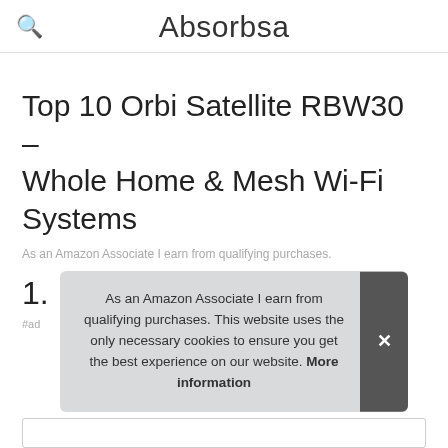Absorbsa
Top 10 Orbi Satellite RBW30 – Whole Home & Mesh Wi-Fi Systems
As an Amazon Associate I earn from qualifying purchases.
1. NETGEAR
#ad
As an Amazon Associate I earn from qualifying purchases. This website uses the only necessary cookies to ensure you get the best experience on our website. More information